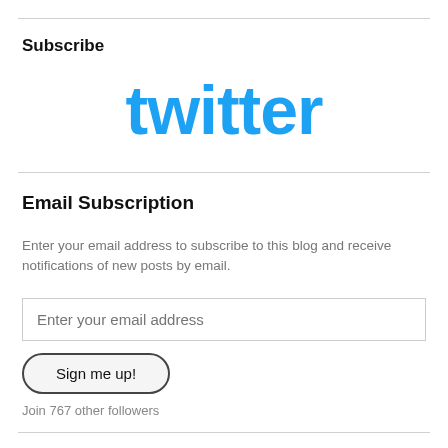Subscribe
[Figure (logo): Twitter logo in sky blue color with rounded bubble-letter font]
Email Subscription
Enter your email address to subscribe to this blog and receive notifications of new posts by email.
Enter your email address
Sign me up!
Join 767 other followers